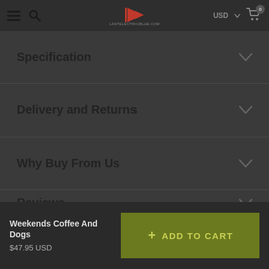Navigation bar with hamburger menu, search icon, logo, USD currency selector, and cart (0 items)
Specification
Delivery and Returns
Why Buy From Us
Reviews
Weekends Coffee And Dogs $47.95 USD  + ADD TO CART